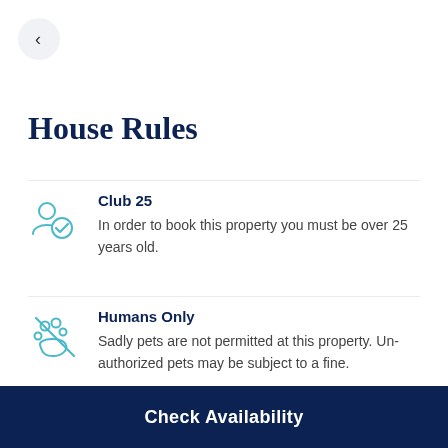[Figure (illustration): Back navigation button, circular light grey button with left-pointing chevron]
House Rules
Club 25
In order to book this property you must be over 25 years old.
Humans Only
Sadly pets are not permitted at this property. Un-authorized pets may be subject to a fine.
Check Availability